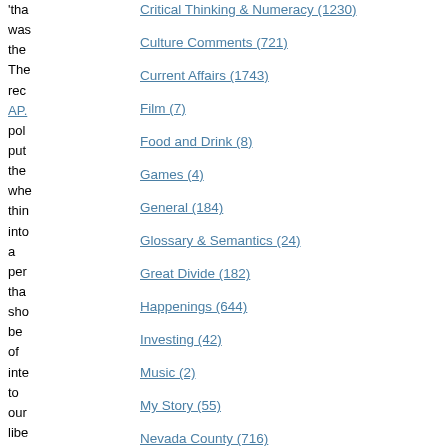'tha was the The rec AP. pol put the whe thin into a per tha sho be of inte to our libe pol
Critical Thinking & Numeracy (1230)
Culture Comments (721)
Current Affairs (1743)
Film (7)
Food and Drink (8)
Games (4)
General (184)
Glossary & Semantics (24)
Great Divide (182)
Happenings (644)
Investing (42)
Music (2)
My Story (55)
Nevada County (716)
Our Country (2285)
Our World (581)
Rebane Doctrine (97)
Religion (38)
Science (71)